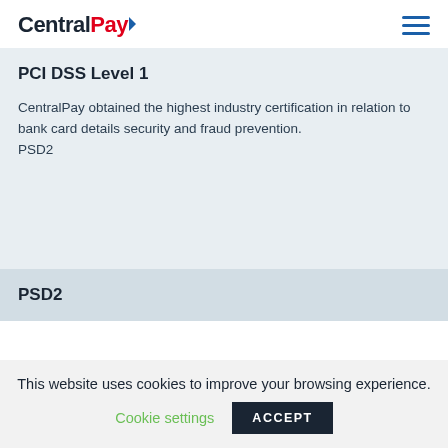CentralPay
PCI DSS Level 1
CentralPay obtained the highest industry certification in relation to bank card details security and fraud prevention.
PSD2
PSD2
This website uses cookies to improve your browsing experience. Cookie settings ACCEPT